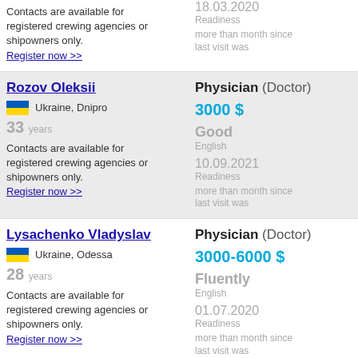Contacts are available for registered crewing agencies or shipowners only.
Register now >>
18.03.2020 Readiness
more than month since last visit was
Rozov Oleksii
Physician (Doctor)
Ukraine, Dnipro
3000 $
33 years
Good English
Contacts are available for registered crewing agencies or shipowners only.
Register now >>
10.09.2021 Readiness
more than month since last visit was
Lysachenko Vladyslav
Physician (Doctor)
Ukraine, Odessa
3000-6000 $
28 years
Fluently English
Contacts are available for registered crewing agencies or shipowners only.
Register now >>
01.07.2020 Readiness
more than month since last visit was